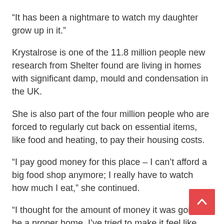“It has been a nightmare to watch my daughter grow up in it.”
Krystalrose is one of the 11.8 million people new research from Shelter found are living in homes with significant damp, mould and condensation in the UK.
She is also part of the four million people who are forced to regularly cut back on essential items, like food and heating, to pay their housing costs.
“I pay good money for this place – I can’t afford a big food shop anymore; I really have to watch how much I eat,” she continued.
“I thought for the amount of money it was going to be a proper home. I’ve tried to make it feel like one, but it’s not.